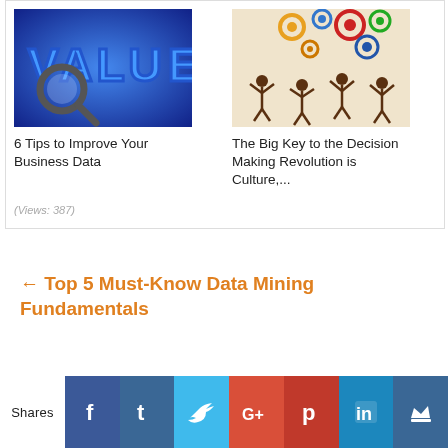[Figure (photo): Blue 3D letters 'VALUE' with a magnifying glass on blue background]
[Figure (illustration): Stick figures with colorful gears floating above them on beige background]
6 Tips to Improve Your Business Data
The Big Key to the Decision Making Revolution is Culture,...
(Views: 387)
← Top 5 Must-Know Data Mining Fundamentals
Shares